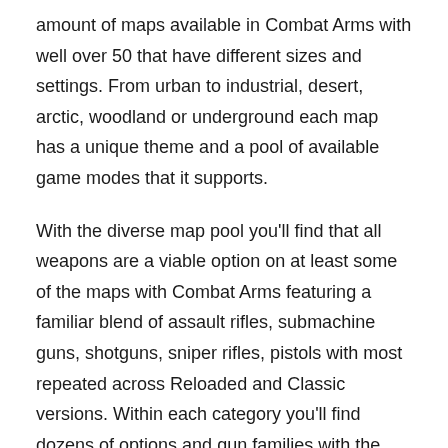amount of maps available in Combat Arms with well over 50 that have different sizes and settings. From urban to industrial, desert, arctic, woodland or underground each map has a unique theme and a pool of available game modes that it supports.
With the diverse map pool you'll find that all weapons are a viable option on at least some of the maps with Combat Arms featuring a familiar blend of assault rifles, submachine guns, shotguns, sniper rifles, pistols with most repeated across Reloaded and Classic versions. Within each category you'll find dozens of options and gun families with the assault rifle for example having ACR, AK M14, M16, M4 and countless others that have their own